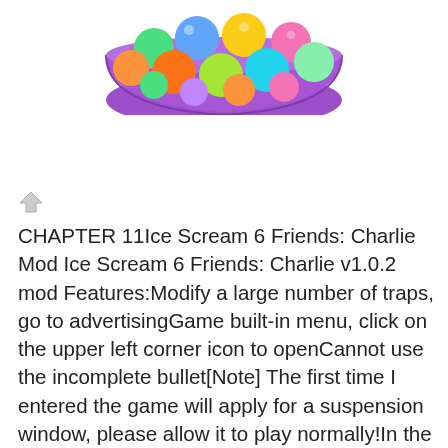[Figure (illustration): Colorful ball pit with purple bowl containing green, blue, orange, yellow, pink, and teal balls]
[Figure (other): Small share/navigation icon (diamond shape with arrow)]
CHAPTER 11Ice Scream 6 Friends: Charlie Mod Ice Scream 6 Friends: Charlie v1.0.2 mod Features:Modify a large number of traps, go to advertisingGame built-in menu, click on the upper left corner icon to openCannot use the incomplete bullet[Note] The first time I entered the game will apply for a suspension window, please allow it to play normally!In the previous chapter J. collaborated with Mike to help him escape from the engine room and meet in the control room. However, there are still 2 friends to rescue, and it seems they have already found the next one, this time inside the factory's kitchen. In this new installment you will play as another one of J.'s friends w